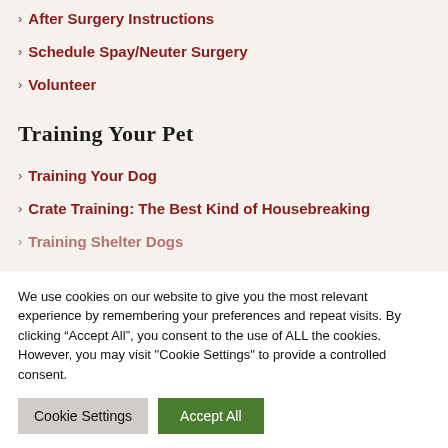After Surgery Instructions
Schedule Spay/Neuter Surgery
Volunteer
Training Your Pet
Training Your Dog
Crate Training: The Best Kind of Housebreaking
Training Shelter Dogs
We use cookies on our website to give you the most relevant experience by remembering your preferences and repeat visits. By clicking “Accept All”, you consent to the use of ALL the cookies. However, you may visit "Cookie Settings" to provide a controlled consent.
Cookie Settings | Accept All